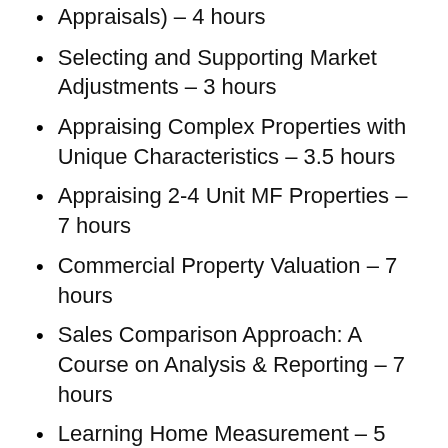Appraisals) – 4 hours
Selecting and Supporting Market Adjustments – 3 hours
Appraising Complex Properties with Unique Characteristics – 3.5 hours
Appraising 2-4 Unit MF Properties – 7 hours
Commercial Property Valuation – 7 hours
Sales Comparison Approach: A Course on Analysis & Reporting – 7 hours
Learning Home Measurement – 5 hours
Appraiser Liability 101 – 4 hours
All of these continuing education courses are stress-free and give you 24/7 online access. You can also get a few bundles if you need multiple